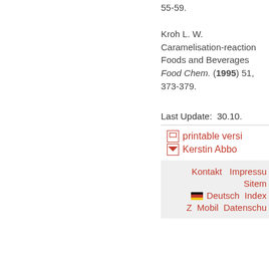55-59.
Kroh L. W. Caramelisation-reaction in Foods and Beverages Food Chem. (1995) 51, 373-379.
Last Update:  30.10.
printable versi...
Kerstin Abbo...
Kontakt   Impressu... Sitem... Deutsch  Index ... Z  Mobil  Datenschu...